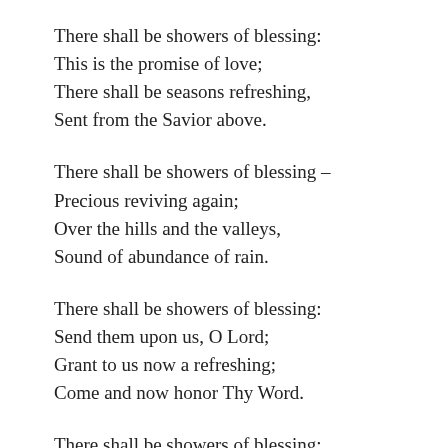There shall be showers of blessing:
This is the promise of love;
There shall be seasons refreshing,
Sent from the Savior above.
There shall be showers of blessing –
Precious reviving again;
Over the hills and the valleys,
Sound of abundance of rain.
There shall be showers of blessing:
Send them upon us, O Lord;
Grant to us now a refreshing;
Come and now honor Thy Word.
There shall be showers of blessing:
Oh, that today they might fall,
Now as to God we're confessing,